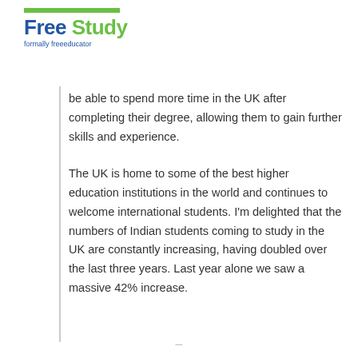Free Study — formally freeeducator
be able to spend more time in the UK after completing their degree, allowing them to gain further skills and experience.
The UK is home to some of the best higher education institutions in the world and continues to welcome international students. I'm delighted that the numbers of Indian students coming to study in the UK are constantly increasing, having doubled over the last three years. Last year alone we saw a massive 42% increase.